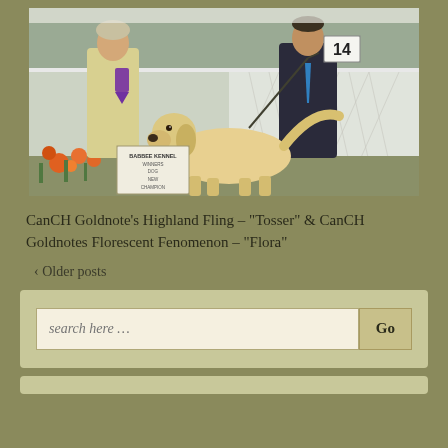[Figure (photo): Dog show photo: two people standing with a golden retriever dog at an outdoor dog show. A woman in a white/cream jacket holding a purple ribbon on the left, a man in a dark suit on the right holding the leash. A sign reading 'BABBEE KENNEL WINNERS DOG NEW CHAMPION' is visible on the left. A number '14' placard is visible in the upper right. White lattice fence in background, orange flowers on left.]
CanCH Goldnote's Highland Fling – “Tosser” & CanCH Goldnotes Florescent Fenomenon – “Flora”
‹ Older posts